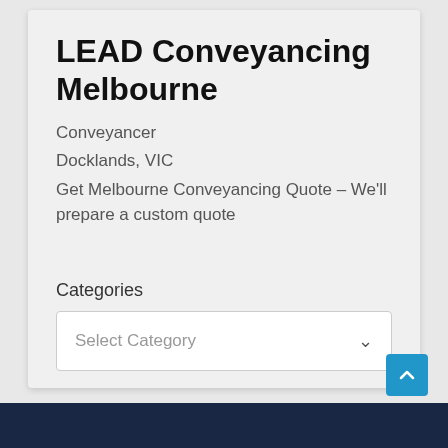LEAD Conveyancing Melbourne
Conveyancer
Docklands, VIC
Get Melbourne Conveyancing Quote – We'll prepare a custom quote
Categories
[Figure (screenshot): Dropdown select box with placeholder text 'Select Category' and a chevron arrow on the right]